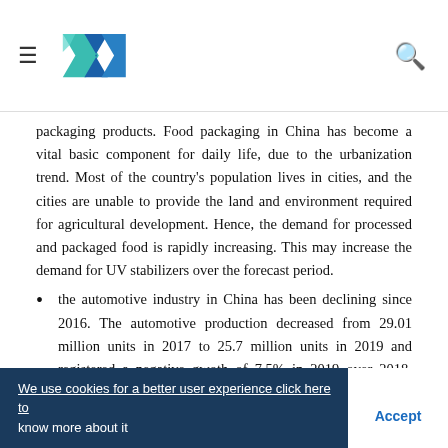Header navigation with logo and search icon
packaging products. Food packaging in China has become a vital basic component for daily life, due to the urbanization trend. Most of the country's population lives in cities, and the cities are unable to provide the land and environment required for agricultural development. Hence, the demand for processed and packaged food is rapidly increasing. This may increase the demand for UV stabilizers over the forecast period.
the automotive industry in China has been declining since 2016. The automotive production decreased from 29.01 million units in 2017 to 25.7 million units in 2019 and registered a negative gwoth of 7.5% in 2019 over 2018. COVID-19 has even downsized the demand for
We use cookies for a better user experience click here to know more about it   Accept